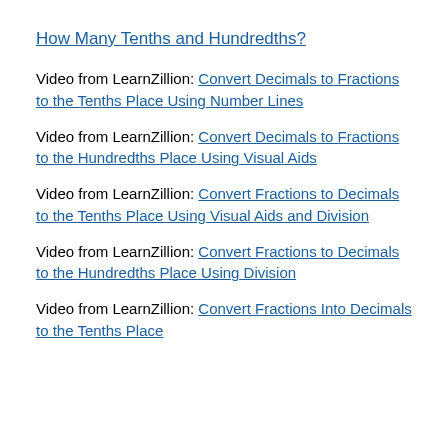How Many Tenths and Hundredths?
Video from LearnZillion: Convert Decimals to Fractions to the Tenths Place Using Number Lines
Video from LearnZillion: Convert Decimals to Fractions to the Hundredths Place Using Visual Aids
Video from LearnZillion: Convert Fractions to Decimals to the Tenths Place Using Visual Aids and Division
Video from LearnZillion: Convert Fractions to Decimals to the Hundredths Place Using Division
Video from LearnZillion: Convert Fractions Into Decimals to the Tenths Place